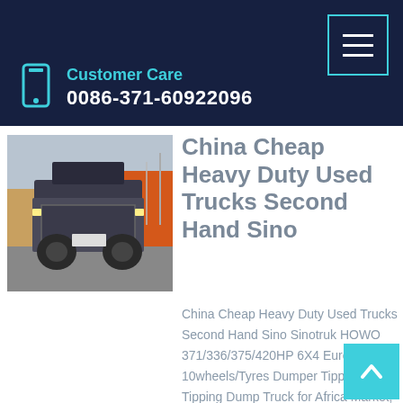Customer Care
0086-371-60922096
[Figure (photo): Rear view of a heavy duty dump truck in a parking/yard area with industrial buildings in background]
China Cheap Heavy Duty Used Trucks Second Hand Sino
China Cheap Heavy Duty Used Trucks Second Hand Sino Sinotruk HOWO 371/336/375/420HP 6X4 Euro2 10wheels/Tyres Dumper Tipper Tipping Dump Truck for Africa Market, Find details about China Used Trucks, Used HOWO Truck from Cheap Heavy Duty Used Trucks Second Hand Sino Sinotruk HOWO 371/336/375/420HP 6X4 Euro2 10wheels/Tyres Dumper Tipper